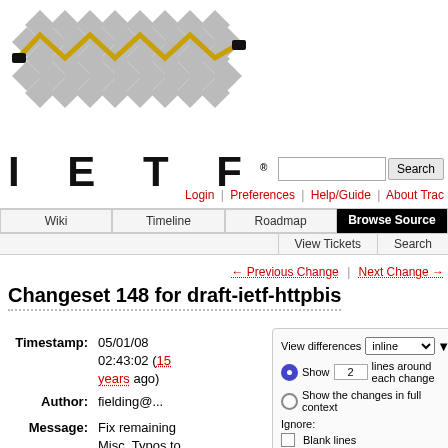[Figure (logo): IETF logo with diamond lattice pattern and zigzag gold line]
Login | Preferences | Help/Guide | About Trac
Wiki | Timeline | Roadmap | Browse Source | View Tickets | Search
← Previous Change | Next Change →
Changeset 148 for draft-ietf-httpbis
Timestamp: 05/01/08 02:43:02 (15 years ago)
Author: fielding@...
Message: Fix remaining Misc. Typos to address #50.
Location: draft-ietf-
[Figure (screenshot): View differences panel with inline dropdown, show 2 lines around each change radio, show full context radio, ignore checkboxes for blank lines, case changes, white space changes, and Update button]